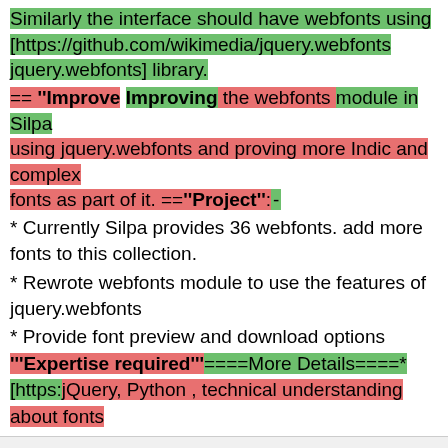Similarly the interface should have webfonts using [https://github.com/wikimedia/jquery.webfonts jquery.webfonts] library.
== '''Improve Improving the webfonts module in Silpa using jquery.webfonts and proving more Indic and complex fonts as part of it. =='''Project''':
* Currently Silpa provides 36 webfonts. add more fonts to this collection.
* Rewrote webfonts module to use the features of jquery.webfonts
* Provide font preview and download options
'''Expertise required'''====More Details====* [https:jQuery, Python , technical understanding about fonts
[Figure (other): User avatar icon (smiley face placeholder)]
░░░░░░
ADMINISTRATORS
42
EDITS